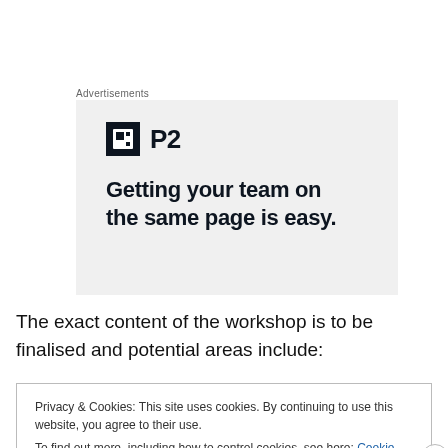Advertisements
[Figure (illustration): P2 advertisement banner with logo and headline: Getting your team on the same page is easy.]
The exact content of the workshop is to be finalised and potential areas include:
Privacy & Cookies: This site uses cookies. By continuing to use this website, you agree to their use. To find out more, including how to control cookies, see here: Cookie Policy
Close and accept